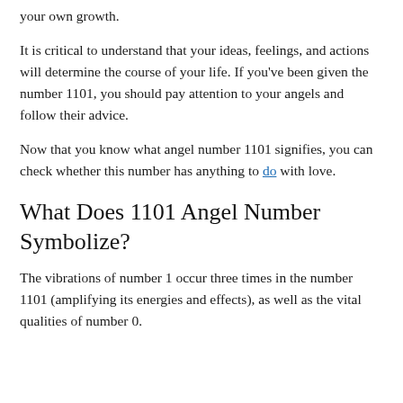your own growth.
It is critical to understand that your ideas, feelings, and actions will determine the course of your life. If you've been given the number 1101, you should pay attention to your angels and follow their advice.
Now that you know what angel number 1101 signifies, you can check whether this number has anything to do with love.
What Does 1101 Angel Number Symbolize?
The vibrations of number 1 occur three times in the number 1101 (amplifying its energies and effects), as well as the vital qualities of number 0.